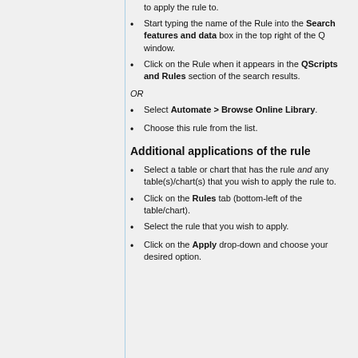to apply the rule to.
Start typing the name of the Rule into the Search features and data box in the top right of the Q window.
Click on the Rule when it appears in the QScripts and Rules section of the search results.
OR
Select Automate > Browse Online Library.
Choose this rule from the list.
Additional applications of the rule
Select a table or chart that has the rule and any table(s)/chart(s) that you wish to apply the rule to.
Click on the Rules tab (bottom-left of the table/chart).
Select the rule that you wish to apply.
Click on the Apply drop-down and choose your desired option.